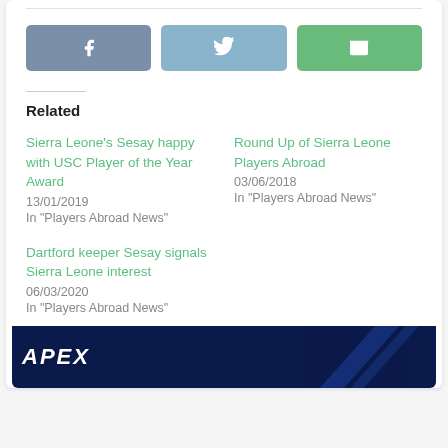[Figure (other): Social share buttons: Facebook (blue-grey), Twitter (light blue), Email (green)]
Related
Sierra Leone's Sesay happy with USC Player of the Year Award
13/01/2019
In "Players Abroad News"
Round Up of Sierra Leone Players Abroad
03/06/2018
In "Players Abroad News"
Dartford keeper Sesay signals Sierra Leone interest
06/03/2020
In "Players Abroad News"
[Figure (other): Bottom banner with dark navy blue background and partial logo text 'APEX' in white bold italic letters with blue diagonal lines]